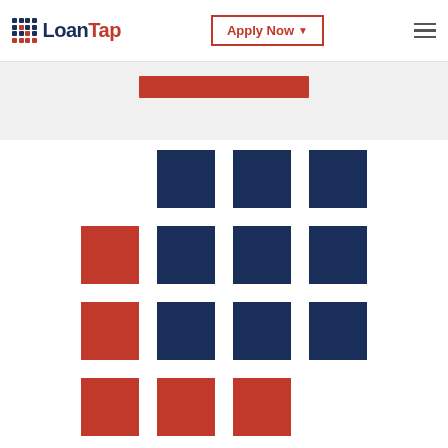LoanTap — Apply Now navigation bar
[Figure (logo): LoanTap logo with grid icon and brand name]
[Figure (infographic): Grid of red and navy blue squares arranged in a 4x4 pattern with some cells empty, representing LoanTap branding graphic. Row 1: 3 navy squares (cols 2-4). Row 2: 1 red, 3 navy. Row 3: 1 red, 3 navy. Row 4: 3 red squares (cols 1-3).]